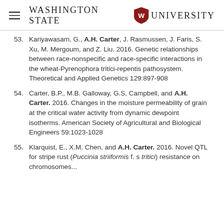Washington State University
53. Kariyawasam, G., A.H. Carter, J. Rasmussen, J. Faris, S. Xu, M. Mergoum, and Z. Liu. 2016. Genetic relationships between race-nonspecific and race-specific interactions in the wheat-Pyrenophora tritici-repentis pathosystem. Theoretical and Applied Genetics 129:897-908
54. Carter, B.P., M.B. Galloway, G.S, Campbell, and A.H. Carter. 2016. Changes in the moisture permeability of grain at the critical water activity from dynamic dewpoint isotherms. American Society of Agricultural and Biological Engineers 59:1023-1028
55. Klarquist, E., X.M. Chen, and A.H. Carter. 2016. Novel QTL for stripe rust (Puccinia striiformis f. s tritici) resistance on chromosomes...